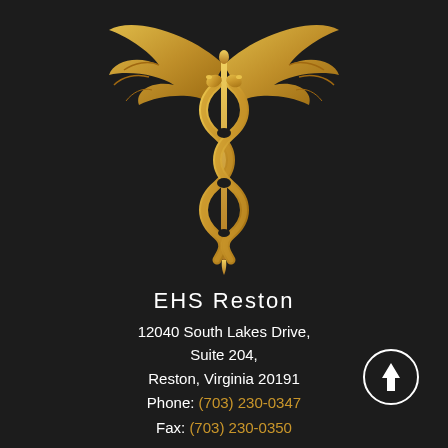[Figure (logo): Gold caduceus medical symbol (staff with two snakes and wings) on dark background]
EHS Reston
12040 South Lakes Drive, Suite 204, Reston, Virginia 20191
Phone: (703) 230-0347
Fax: (703) 230-0350
Email: info@EHSdocs.com